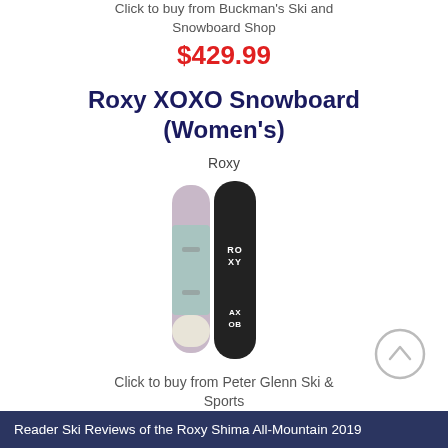Click to buy from Buckman's Ski and Snowboard Shop
$429.99
Roxy XOXO Snowboard (Women's)
Roxy
[Figure (photo): Two Roxy XOXO snowboards side by side — one light pink/teal and one black with ROXY and XOXO branding]
Click to buy from Peter Glenn Ski & Sports
$344.99
(20% off)
Reader Ski Reviews of the Roxy Shima All-Mountain 2019